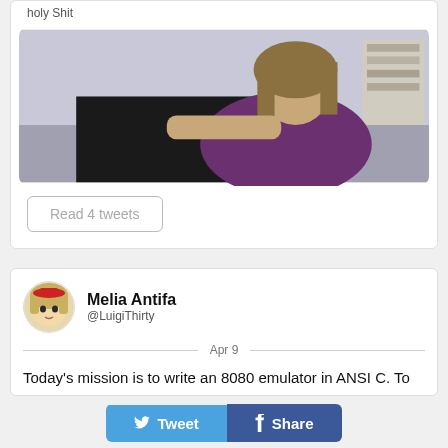holy Shit
[Figure (photo): Person with long hair in a purple shirt leaning on a dark surface, indoor setting]
Read 4 tweets
Melia Antifa
@LuigiThirty
Apr 9
Today's mission is to write an 8080 emulator in ANSI C. To